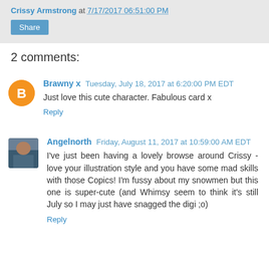Crissy Armstrong at 7/17/2017 06:51:00 PM
Share
2 comments:
Brawny x  Tuesday, July 18, 2017 at 6:20:00 PM EDT
Just love this cute character. Fabulous card x
Reply
Angelnorth  Friday, August 11, 2017 at 10:59:00 AM EDT
I've just been having a lovely browse around Crissy - love your illustration style and you have some mad skills with those Copics! I'm fussy about my snowmen but this one is super-cute (and Whimsy seem to think it's still July so I may just have snagged the digi ;o)
Reply